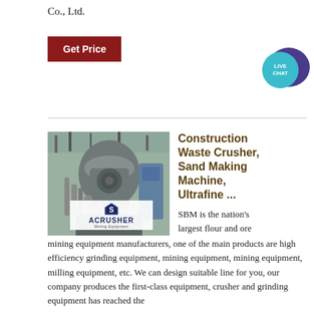Co., Ltd.
Get Price
[Figure (logo): Live Chat bubble icon with speech bubble, teal and purple colors, text 'LIVE CHAT']
[Figure (photo): Industrial crusher/grinding machine equipment in a factory setting with ACRUSHER Mining Equipment logo overlay]
Construction Waste Crusher, Sand Making Machine, Ultrafine ...
SBM is the nation's largest flour and ore mining equipment manufacturers, one of the main products are high efficiency grinding equipment, mining equipment, mining equipment, milling equipment, etc. We can design suitable line for you, our company produces the first-class equipment, crusher and grinding equipment has reached the